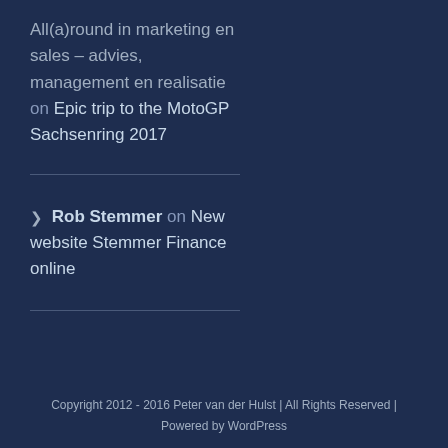All(a)round in marketing en sales – advies, management en realisatie on Epic trip to the MotoGP Sachsenring 2017
Rob Stemmer on New website Stemmer Finance online
Copyright 2012 - 2016 Peter van der Hulst | All Rights Reserved | Powered by WordPress